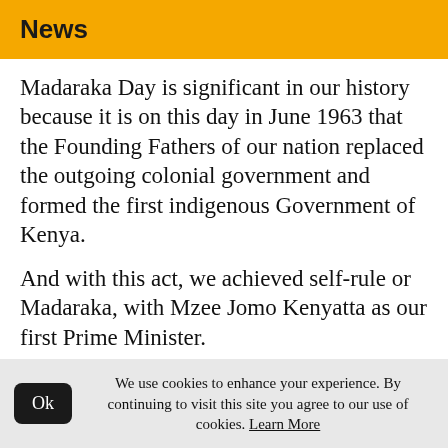News
Madaraka Day is significant in our history because it is on this day in June 1963 that the Founding Fathers of our nation replaced the outgoing colonial government and formed the first indigenous Government of Kenya.
And with this act, we achieved self-rule or Madaraka, with Mzee Jomo Kenyatta as our first Prime Minister.
However, self-rule was NOT the same thing as independence.  With Madaraka, we had merely surmounted the first hurdle in our
We use cookies to enhance your experience. By continuing to visit this site you agree to our use of cookies. Learn More